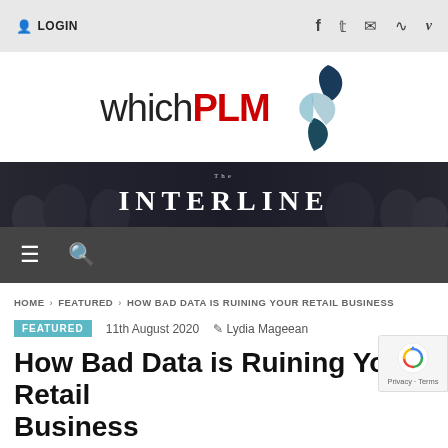LOGIN   f   t   ✉   RSS   v
[Figure (logo): whichPLM logo with stylized blue/teal leaf/arrow icon on the right]
[Figure (screenshot): The Interline dark banner advertisement with crowd background]
Hamburger menu and search icon navigation bar
HOME › FEATURED › HOW BAD DATA IS RUINING YOUR RETAIL BUSINESS
FEATURED   11th August 2020   Lydia Mageean
How Bad Data is Ruining Your Retail Business